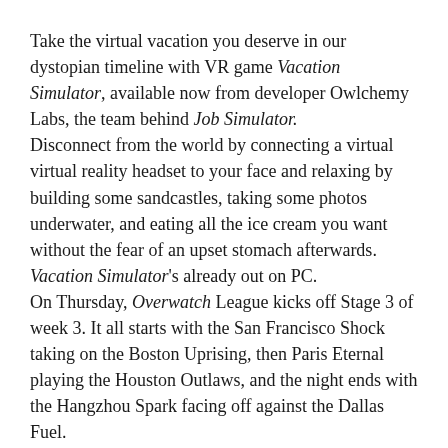Take the virtual vacation you deserve in our dystopian timeline with VR game Vacation Simulator, available now from developer Owlchemy Labs, the team behind Job Simulator.
Disconnect from the world by connecting a virtual virtual reality headset to your face and relaxing by building some sandcastles, taking some photos underwater, and eating all the ice cream you want without the fear of an upset stomach afterwards. Vacation Simulator's already out on PC.
On Thursday, Overwatch League kicks off Stage 3 of week 3. It all starts with the San Francisco Shock taking on the Boston Uprising, then Paris Eternal playing the Houston Outlaws, and the night ends with the Hangzhou Spark facing off against the Dallas Fuel.